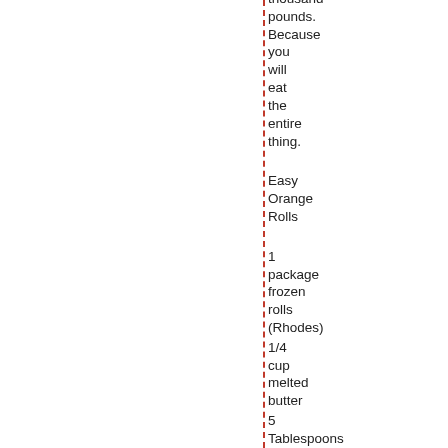thousand pounds. Because you will eat the entire thing.
Easy Orange Rolls
1 package frozen rolls (Rhodes)
1/4 cup melted butter
5 Tablespoons sugar
2 Tablespoons orange